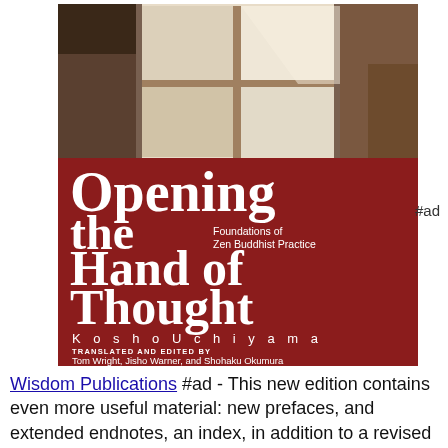[Figure (illustration): Book cover of 'Opening the Hand of Thought: Foundations of Zen Buddhist Practice' by Kosho Uchiyama, translated and edited by Tom Wright, Jisho Warner, and Shohaku Okumura. The cover has a dark red/maroon lower half with white text, and an upper half showing a black and white photo of an open window with light coming through. Published by Wisdom Publications.]
#ad
Wisdom Publications #ad - This new edition contains even more useful material: new prefaces, and extended endnotes, an index, in addition to a revised